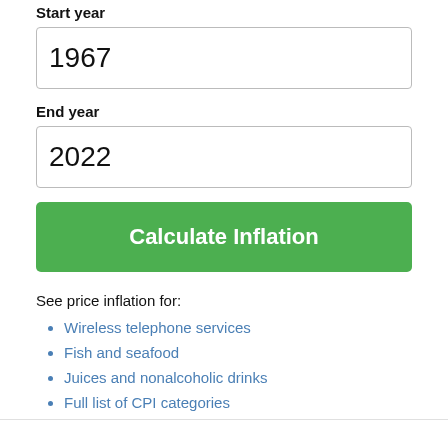Start year
1967
End year
2022
Calculate Inflation
See price inflation for:
Wireless telephone services
Fish and seafood
Juices and nonalcoholic drinks
Full list of CPI categories